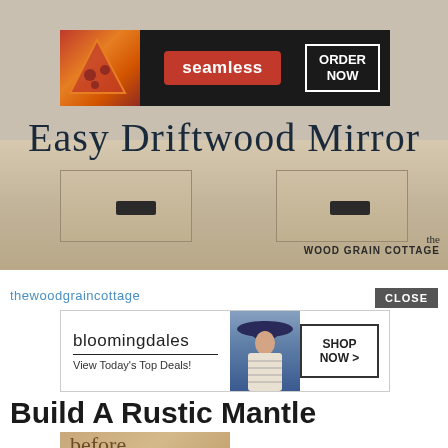[Figure (screenshot): Screenshot of a home decor blog page showing a Seamless food delivery ad at top, a blog post image titled 'Easy Driftwood Mirror' with a wooden dresser by The Wood Grain Cottage, followed by a Bloomingdales ad with a CLOSE button, and a heading 'Build A Rustic Mantle' with a partial 'before' image at the bottom.]
Easy Driftwood Mirror
thewoodgraincottage
Build A Rustic Mantle
before